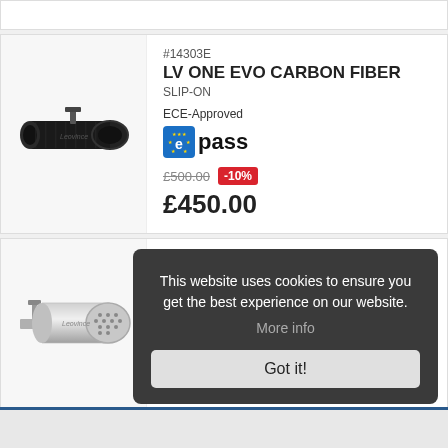#14303E
LV ONE EVO CARBON FIBER
SLIP-ON
ECE-Approved
[Figure (logo): e pass badge - blue square with EU stars and letter e, followed by bold text 'pass']
£500.00  -10%
£450.00
[Figure (photo): Black carbon fiber slip-on exhaust muffler (LV ONE EVO)]
#15232
LV-10
[Figure (photo): Stainless steel slip-on exhaust muffler (LV-10)]
This website uses cookies to ensure you get the best experience on our website.
More info
Got it!